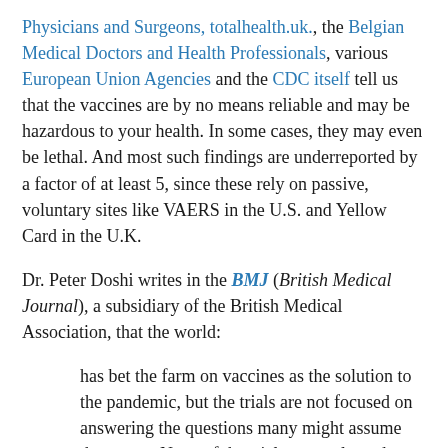Physicians and Surgeons, totalhealth.uk., the Belgian Medical Doctors and Health Professionals, various European Union Agencies and the CDC itself tell us that the vaccines are by no means reliable and may be hazardous to your health. In some cases, they may even be lethal. And most such findings are underreported by a factor of at least 5, since these rely on passive, voluntary sites like VAERS in the U.S. and Yellow Card in the U.K.
Dr. Peter Doshi writes in the BMJ (British Medical Journal), a subsidiary of the British Medical Association, that the world:
has bet the farm on vaccines as the solution to the pandemic, but the trials are not focused on answering the questions many might assume they are… None of the trials currently under way are designed to detect a reduction in any serious outcome such as hospital admissions, use of intensive care, or deaths. Nor are